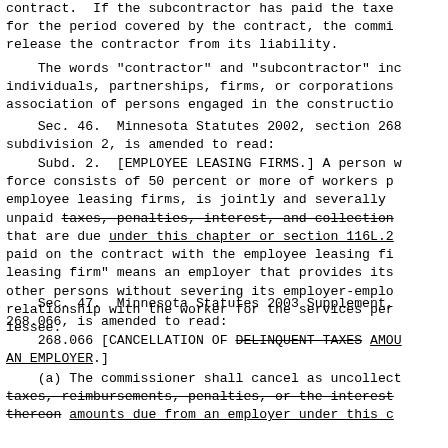contract.  If the subcontractor has paid the taxes for the period covered by the contract, the commissioner shall release the contractor from its liability.
The words "contractor" and "subcontractor" include individuals, partnerships, firms, or corporations or association of persons engaged in the construction
Sec. 46.  Minnesota Statutes 2002, section 268.035, subdivision 2, is amended to read:
Subd. 2.  [EMPLOYEE LEASING FIRMS.] A person whose work force consists of 50 percent or more of workers provided by employee leasing firms, is jointly and severally liable for unpaid taxes, penalties, interest, and collection fees that are due under this chapter or section 116L.2 that are paid on the contract with the employee leasing firm. "Employee leasing firm" means an employer that provides its employees to other persons without severing its employer-employee relationship with the worker for the services performed by the lessee.
Sec. 47.  Minnesota Statutes 2003 Supplement, section 268.066, is amended to read:
268.066 [CANCELLATION OF DELINQUENT TAXES AMOUNTS OWED BY AN EMPLOYER.]
(a) The commissioner shall cancel as uncollectible taxes, reimbursements, penalties, or the interest thereon amounts due from an employer under this c